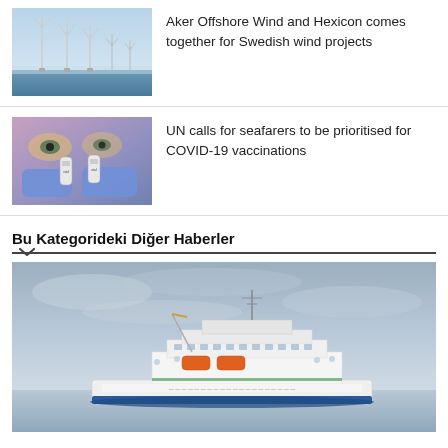[Figure (photo): Offshore wind turbines at sea]
Aker Offshore Wind and Hexicon comes together for Swedish wind projects
[Figure (photo): Person in blue gloves holding vaccine vials]
UN calls for seafarers to be prioritised for COVID-19 vaccinations
Bu Kategorideki Diğer Haberler
[Figure (photo): White passenger ship on calm grey sea under overcast sky]